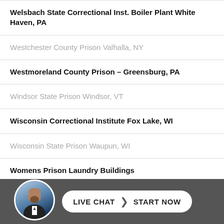Welsbach State Correctional Inst. Boiler Plant White Haven, PA
Westchester County Prison Valhalla, NY
Westmoreland County Prison – Greensburg, PA
Windsor State Prison Windsor, VT
Wisconsin Correctional Institute Fox Lake, WI
Wisconsin State Prison Waupun, WI
Womens Prison Laundry Buildings
Woodborne Prison Powerhouse
Woodbourne Correctional Institute Woodbourne, NY
[Figure (other): Live chat widget with a person's photo and a button reading LIVE CHAT > START NOW on a dark gray background bar]